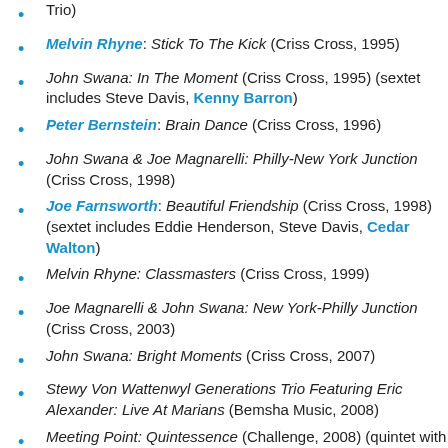Trio)
Melvin Rhyne: Stick To The Kick (Criss Cross, 1995)
John Swana: In The Moment (Criss Cross, 1995) (sextet includes Steve Davis, Kenny Barron)
Peter Bernstein: Brain Dance (Criss Cross, 1996)
John Swana & Joe Magnarelli: Philly-New York Junction (Criss Cross, 1998)
Joe Farnsworth: Beautiful Friendship (Criss Cross, 1998) (sextet includes Eddie Henderson, Steve Davis, Cedar Walton)
Melvin Rhyne: Classmasters (Criss Cross, 1999)
Joe Magnarelli & John Swana: New York-Philly Junction (Criss Cross, 2003)
John Swana: Bright Moments (Criss Cross, 2007)
Stewy Von Wattenwyl Generations Trio Featuring Eric Alexander: Live At Marians (Bemsha Music, 2008)
Meeting Point: Quintessence (Challenge, 2008) (quintet with Jim Rotondi, Andrei Kondakov, Dmitri Kolesnik & Lenny White)
Neal Smith Quintet: Live At Smalls (Smalls Live, 2009)